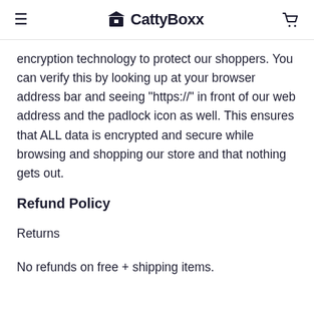CattyBoxx
encryption technology to protect our shoppers. You can verify this by looking up at your browser address bar and seeing "https://" in front of our web address and the padlock icon as well. This ensures that ALL data is encrypted and secure while browsing and shopping our store and that nothing gets out.
Refund Policy
Returns
No refunds on free + shipping items.